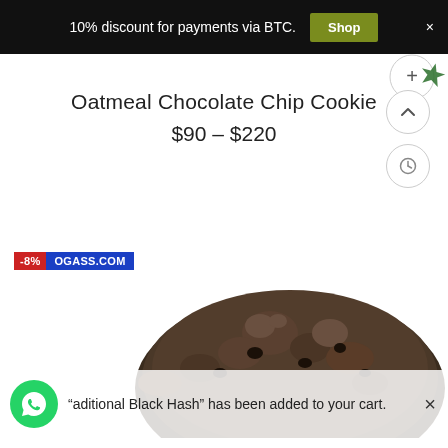10% discount for payments via BTC. Shop ×
Oatmeal Chocolate Chip Cookie
$90 – $220
[Figure (photo): Close-up photo of a dark oatmeal chocolate chip cookie (cannabis edible), shown from above with textured surface. Watermark overlay shows '-8%' in red and 'OGASS.COM' in blue.]
"aditional Black Hash" has been added to your cart.